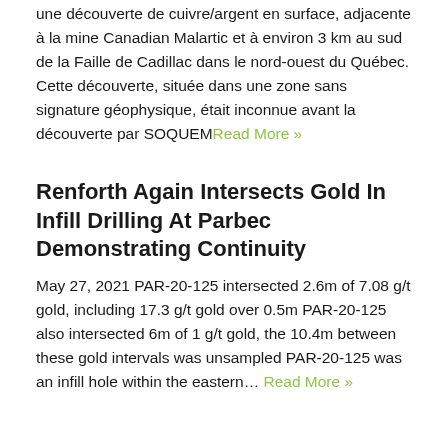une découverte de cuivre/argent en surface, adjacente à la mine Canadian Malartic et à environ 3 km au sud de la Faille de Cadillac dans le nord-ouest du Québec. Cette découverte, située dans une zone sans signature géophysique, était inconnue avant la découverte par SOQUEMRead More »
Renforth Again Intersects Gold In Infill Drilling At Parbec Demonstrating Continuity
May 27, 2021 PAR-20-125 intersected 2.6m of 7.08 g/t gold, including 17.3 g/t gold over 0.5m PAR-20-125 also intersected 6m of 1 g/t gold, the 10.4m between these gold intervals was unsampled PAR-20-125 was an infill hole within the eastern… Read More »